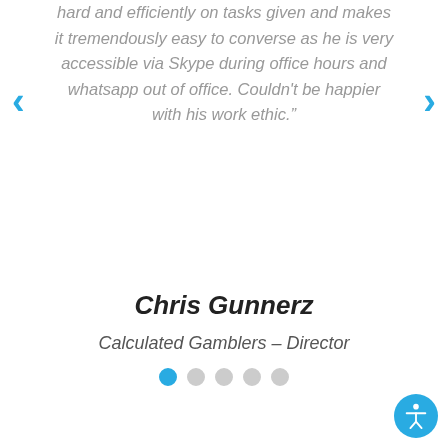hard and efficiently on tasks given and makes it tremendously easy to converse as he is very accessible via Skype during office hours and whatsapp out of office. Couldn't be happier with his work ethic."
Chris Gunnerz
Calculated Gamblers – Director